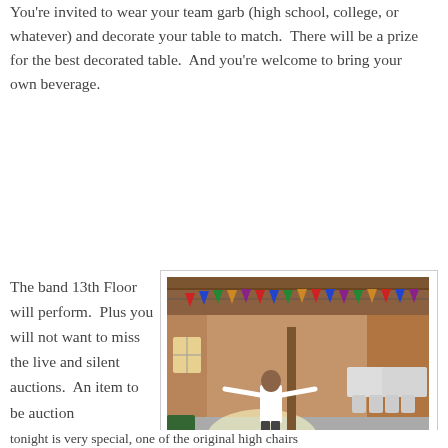You're invited to wear your team garb (high school, college, or whatever) and decorate your table to match.  There will be a prize for the best decorated table.  And you're welcome to bring your own beverage.
The band 13th Floor will perform.  Plus you will not want to miss the live and silent auctions.  An item to be auction
[Figure (photo): Interior of a barn decorated with colorful pennant flags/banners strung across the ceiling. A man stands in the center of the barn, arms outstretched. Folding tables and chairs are set up inside. The barn has wooden walls and a concrete floor with sunlight streaming in.]
John Karkheck inside the barn. There is more in the barn than this picture shows. Lots of team banners and memorabilia that you won't want to miss seeing.
tonight is very special, one of the original high chairs